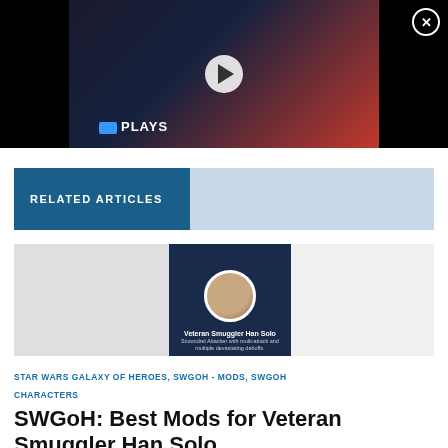[Figure (screenshot): Video thumbnail showing a young man and Spider-Man with a play button overlay and 'PLAYS' logo in the lower left. Black background with close button in top right.]
RELATED ARTICLES
[Figure (screenshot): Article card thumbnail showing Star Wars Galaxy of Heroes Veteran Smuggler Han Solo character card with dark blue background, character icon, and description text.]
STAR WARS GALAXY OF HEROES, SWGOH - MODS, SWGOH CHARACTERS
SWGoH: Best Mods for Veteran Smuggler Han Solo